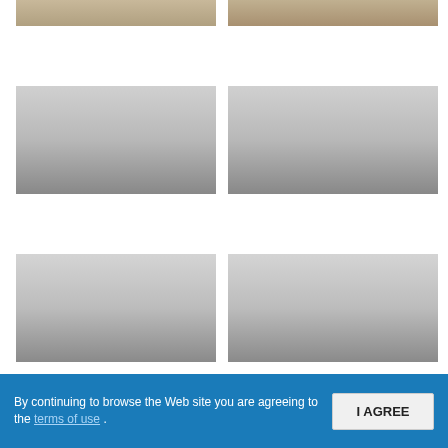[Figure (photo): Partial photo top-left: outdoor scene with stone/pavement surface]
[Figure (photo): Partial photo top-right: outdoor scene with fence/railing and greenery]
[Figure (photo): Middle-left placeholder image, loading/grey gradient]
[Figure (photo): Middle-right placeholder image, loading/grey gradient]
[Figure (photo): Bottom-left placeholder image, loading/grey gradient]
[Figure (photo): Bottom-right placeholder image, loading/grey gradient]
By continuing to browse the Web site you are agreeing to the terms of use .